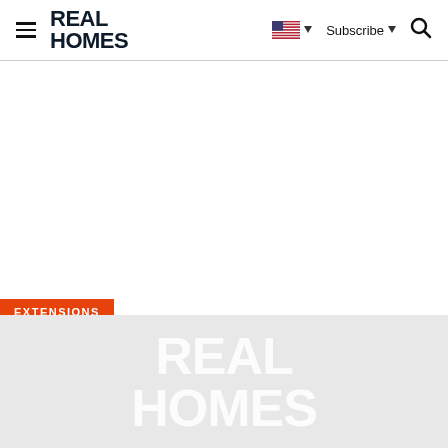REAL HOMES — Subscribe
EXTENSIONS
[Figure (logo): Real Homes logo watermark in light gray on gray background]